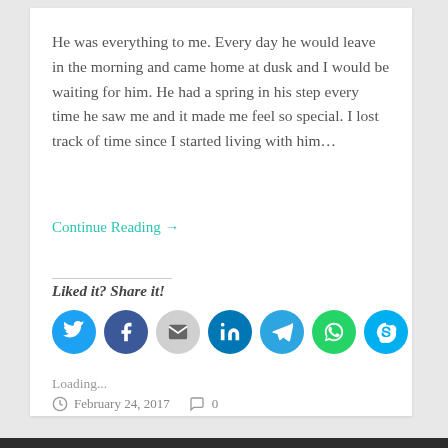He was everything to me. Every day he would leave in the morning and came home at dusk and I would be waiting for him. He had a spring in his step every time he saw me and it made me feel so special. I lost track of time since I started living with him…
Continue Reading →
Liked it? Share it!
[Figure (infographic): Row of social sharing icon buttons: Twitter (blue), Facebook (dark blue), Email (gray), LinkedIn (dark blue), Telegram (light blue), WhatsApp (green), Skype (light blue)]
Loading...
February 24, 2017  0